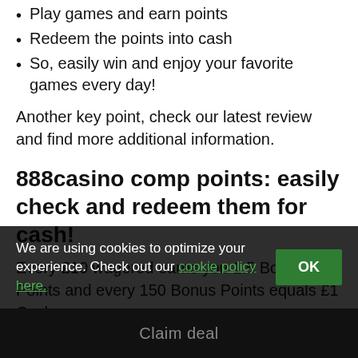Play games and earn points
Redeem the points into cash
So, easily win and enjoy your favorite games every day!
Another key point, check our latest review and find more additional information.
888casino comp points: easily check and redeem them for cash!
Every £10 wagered earns you 1.5 Bonus Points and every 150 Bonus Points equals £1 Cash.
Keep in mind, that there are no special requirements for which games you need to play, you just get Comp Points for playing your favorite games as usual.
We are using cookies to optimize your experience. Check out our cookie policy here.
Claim deal